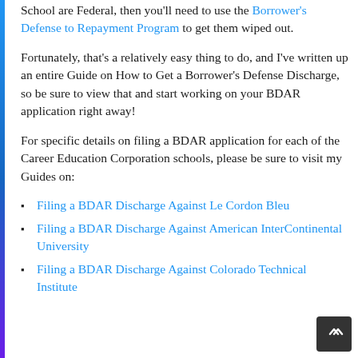School are Federal, then you'll need to use the Borrower's Defense to Repayment Program to get them wiped out.
Fortunately, that's a relatively easy thing to do, and I've written up an entire Guide on How to Get a Borrower's Defense Discharge, so be sure to view that and start working on your BDAR application right away!
For specific details on filing a BDAR application for each of the Career Education Corporation schools, please be sure to visit my Guides on:
Filing a BDAR Discharge Against Le Cordon Bleu
Filing a BDAR Discharge Against American InterContinental University
Filing a BDAR Discharge Against Colorado Technical Institute